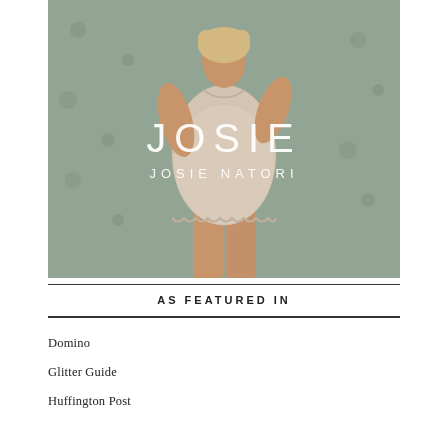[Figure (photo): Fashion advertisement photo of a woman wearing a white lace slip dress against a floral wallpaper background. The brand name 'JOSIE' appears in large white letters in the center of the image, with 'JOSIE NATORI' in smaller white letters below.]
AS FEATURED IN
Domino
Glitter Guide
Huffington Post